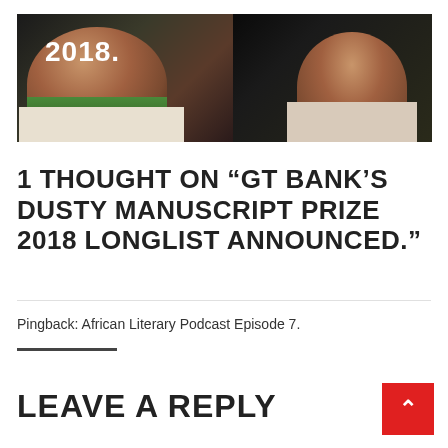[Figure (photo): Banner photo showing two people — a woman on the left wearing a white tank top and green beaded necklace, and a man on the right in a light-colored shirt with a dark tie. The year '2018.' is overlaid in white bold text on the left side of the image.]
1 THOUGHT ON “GT BANK’S DUSTY MANUSCRIPT PRIZE 2018 LONGLIST ANNOUNCED.”
Pingback: African Literary Podcast Episode 7.
LEAVE A REPLY